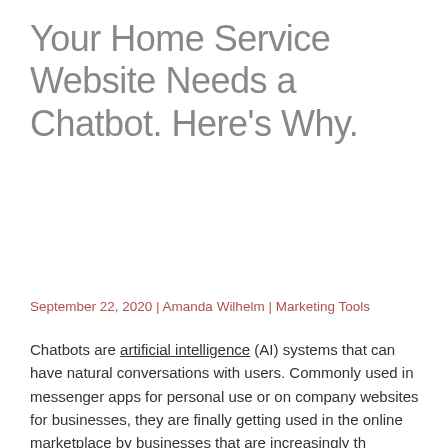Your Home Service Website Needs a Chatbot. Here's Why.
September 22, 2020 | Amanda Wilhelm | Marketing Tools
Chatbots are artificial intelligence (AI) systems that can have natural conversations with users. Commonly used in messenger apps for personal use or on company websites for businesses, they are finally getting used in the online marketplace by businesses that are increasingly...